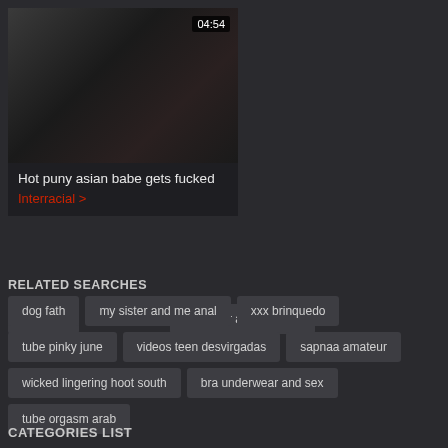[Figure (screenshot): Video thumbnail showing blurred adult content with duration badge 04:54 in top right corner]
Hot puny asian babe gets fucked
Interracial >
RELATED SEARCHES
dog fath
my sister and me anal
xxx brinquedo
tube pinky june
videos teen desvirgadas
sapnaa amateur
wicked lingering hoot south
bra underwear and sex
tube orgasm arab
CATEGORIES LIST